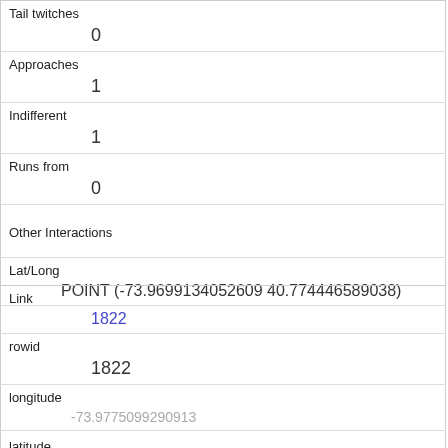| Tail twitches | 0 |
| Approaches | 1 |
| Indifferent | 1 |
| Runs from | 0 |
| Other Interactions |  |
| Lat/Long | POINT (-73.9699134052609 40.774446589038) |
| Link | 1822 |
| rowid | 1822 |
| longitude | -73.9775099290913 |
| latitude |  |